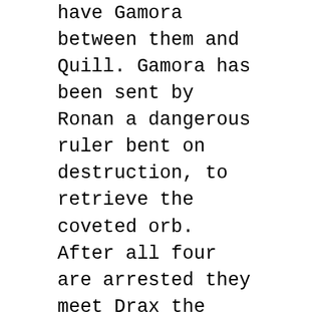have Gamora between them and Quill. Gamora has been sent by Ronan a dangerous ruler bent on destruction, to retrieve the coveted orb. After all four are arrested they meet Drax the Destroyer while in prison. It is there they all realize they must fight together to survive and save the galaxy.
Guardians of the Galaxy doesn't hold back. Within the first moments of the 121 minute film we are introduced to a quick yet deep backstory to who Peter Quill AKA Star Lord is. Being abducted moments after the passing of his mother, the film jumps 25 years into the future to 2014 where a grown up Star Lord is doing a great job being the intergalactic Indiana Jones. We're slowly introduced to the other stars of this film but what might seem